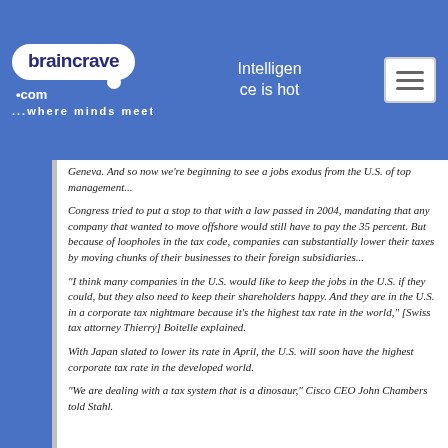braincrave.com ...where minds meet | Intelligence is hot
Geneva. And so now we're beginning to see a jobs exodus from the U.S. of top management...
Congress tried to put a stop to that with a law passed in 2004, mandating that any company that wanted to move offshore would still have to pay the 35 percent. But because of loopholes in the tax code, companies can substantially lower their taxes by moving chunks of their businesses to their foreign subsidiaries...
"I think many companies in the U.S. would like to keep the jobs in the U.S. if they could, but they also need to keep their shareholders happy. And they are in the U.S. in a corporate tax nightmare because it's the highest tax rate in the world," [Swiss tax attorney Thierry] Boitelle explained.
With Japan slated to lower its rate in April, the U.S. will soon have the highest corporate tax rate in the developed world.
"We are dealing with a tax system that is a dinosaur," Cisco CEO John Chambers told Stahl.